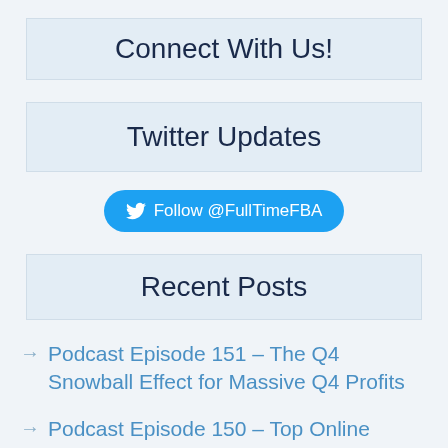Connect With Us!
Twitter Updates
[Figure (other): Twitter follow button linking to @FullTimeFBA]
Recent Posts
Podcast Episode 151 – The Q4 Snowball Effect for Massive Q4 Profits
Podcast Episode 150 – Top Online Arbitrage Mistakes to Avoid